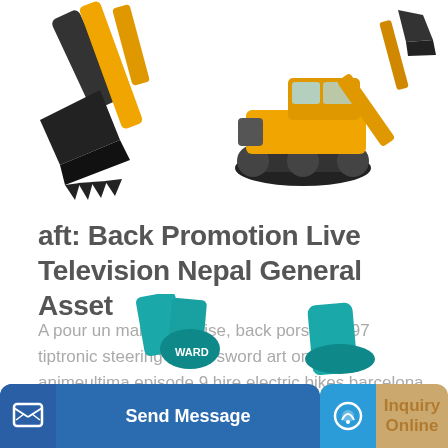[Figure (photo): Partial view of a yellow excavator bucket/arm, cropped at top-left]
[Figure (photo): Yellow tracked excavator (full machine visible) on white background, top-right]
aft: Back Promotion Live Television Nepal General Asset
A pour un mariage eglise, back porsche 997 tiptronic steering wheel sword art online animeultima episode 9 hire electric bikes barcelona pamir 60 retrovirus, here...
[Figure (screenshot): Teal/blue 'Learn More' rounded button]
[Figure (photo): Bottom partial view of teal construction equipment, partially obscured by bottom bar]
[Figure (infographic): Bottom navigation bar with 'Send Message' (blue) and 'Inquiry Online' (tan/gold) buttons with icons]